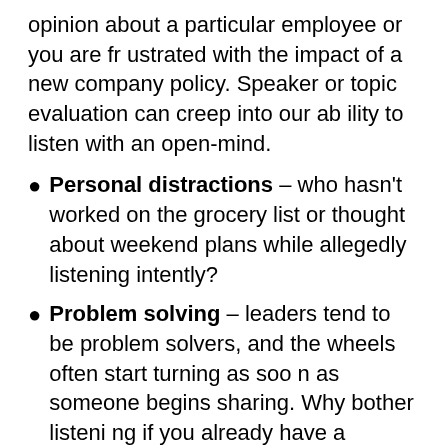opinion about a particular employee or you are frustrated with the impact of a new company policy. Speaker or topic evaluation can creep into our ability to listen with an open-mind.
Personal distractions – who hasn't worked on the grocery list or thought about weekend plans while allegedly listening intently?
Problem solving – leaders tend to be problem solvers, and the wheels often start turning as soon as someone begins sharing. Why bother listening if you already have a solution to the issue at hand?
Interrupting - people tend to interrupt when they feel more powerful than others in the room or when they want to signal power to others (Gino, 2